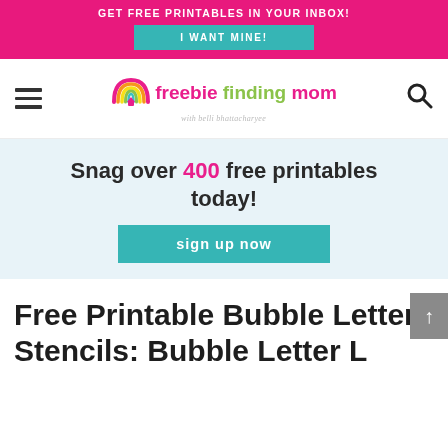GET FREE PRINTABLES IN YOUR INBOX! I WANT MINE!
[Figure (logo): Freebie Finding Mom logo with rainbow graphic and subtitle 'with belli bhattacharyee']
Snag over 400 free printables today! sign up now
Free Printable Bubble Letter Stencils: Bubble Letter L